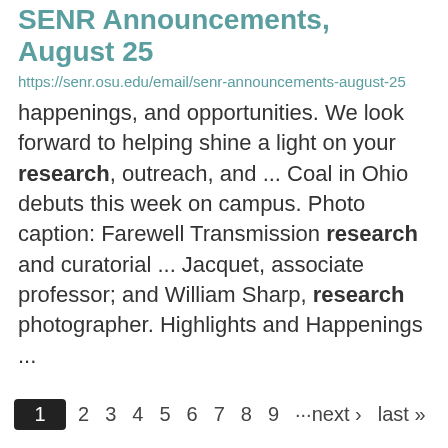SENR Announcements, August 25
https://senr.osu.edu/email/senr-announcements-august-25
happenings, and opportunities. We look forward to helping shine a light on your research, outreach, and ... Coal in Ohio debuts this week on campus. Photo caption: Farewell Transmission research and curatorial ... Jacquet, associate professor; and William Sharp, research photographer. Highlights and Happenings ...
1 2 3 4 5 6 7 8 9 ···next › last »